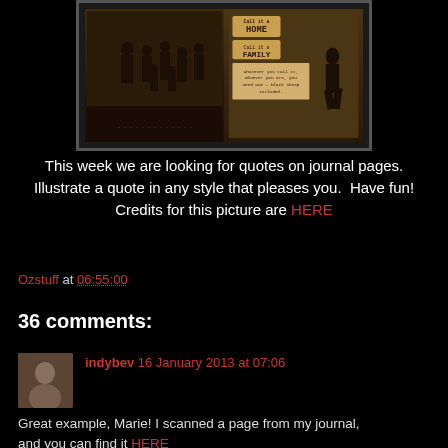[Figure (photo): Vintage family photo collage with sepia-toned old photograph of a family group on left side, and decorative journal page with block letter text on right side reading 'Call it a HOME, Call it a FAMILY, Whatever you call it, whoever you are, you need one - black sheep included.']
This week we are looking for quotes on journal pages. Illustrate a quote in any style that pleases you.  Have fun! Credits for this picture are HERE
Ozstuff at 06:55:00
36 comments:
indybev 16 January 2013 at 07:06
Great example, Marie! I scanned a page from my journal, and you can find it HERE
Reply